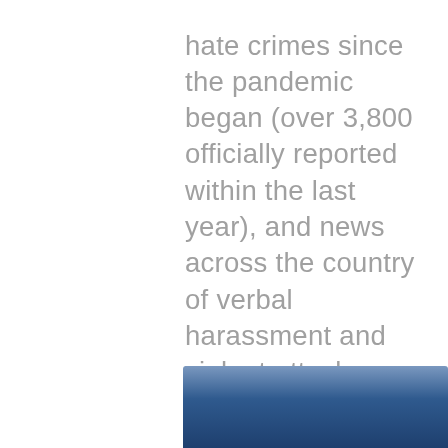hate crimes since the pandemic began (over 3,800 officially reported within the last year), and news across the country of verbal harassment and violent attacks have been incredibly difficult to read on a daily basis.  This event is not only for AAPI community members, but open to the entire Franklin community.  We encourage you to learn more about this issue and to join the conversation.  For more information, click here.
[Figure (photo): Partial view of a blue rectangular banner or image with a dark navy-to-medium blue gradient, cropped at the bottom of the page.]